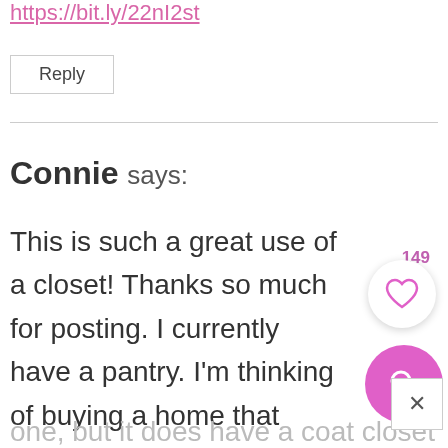https://bit.ly/22nI2st
Reply
Connie says:
This is such a great use of a closet! Thanks so much for posting. I currently have a pantry. I'm thinking of buying a home that doesn't have one, but it does have a coat closet